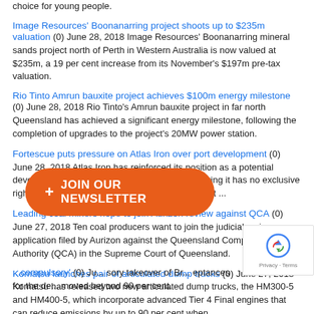choice for young people.
Image Resources' Boonanarring project shoots up to $235m valuation (0) June 28, 2018 Image Resources' Boonanarring mineral sands project north of Perth in Western Australia is now valued at $235m, a 19 per cent increase from its November's $197m pre-tax valuation.
Rio Tinto Amrun bauxite project achieves $100m energy milestone (0) June 28, 2018 Rio Tinto's Amrun bauxite project in far north Queensland has achieved a significant energy milestone, following the completion of upgrades to the project's 20MW power station.
Fortescue puts pressure on Atlas Iron over port development (0) June 28, 2018 Atlas Iron has reinforced its position as a potential developer of export facilities at Port Hedland, saying it has no exclusive rights at the major Western Australian iron ore port ...
Leading coal miners hope to join Aurizon review against QCA (0) June 27, 2018 Ten coal producers want to join the judicial review application filed by Aurizon against the Queensland Competition Authority (QCA) in the Supreme Court of Queensland.
Komatsu launches pair of articulated dump trucks (0) June 27, 2018 Komatsu has released two new articulated dump trucks, the HM300-5 and HM400-5, which incorporate advanced Tier 4 Final engines that can reduce emissions by up to 90 per cent when ...
...compulsory' (0) June ... sory takeover of Br... eptances for the de... moved beyond 90 per cent.